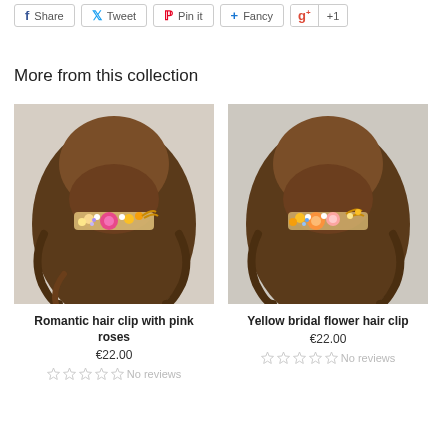[Figure (screenshot): Social share buttons row: Share (Facebook), Tweet (Twitter), Pin it (Pinterest), Fancy buttons, and a Google +1 button]
More from this collection
[Figure (photo): Photo of woman from behind with brown wavy hair wearing a floral hair clip with pink roses and yellow flowers]
Romantic hair clip with pink roses
€22.00
No reviews
[Figure (photo): Photo of woman from behind with brown wavy hair wearing a yellow and orange floral bridal hair clip]
Yellow bridal flower hair clip
€22.00
No reviews